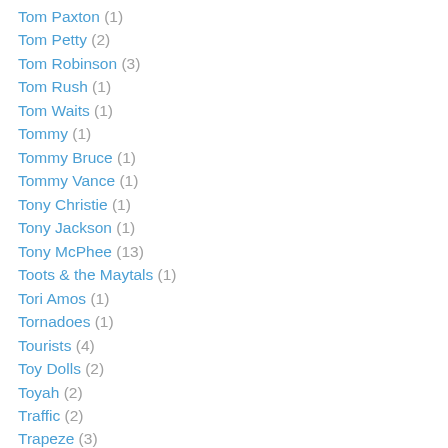Tom Paxton (1)
Tom Petty (2)
Tom Robinson (3)
Tom Rush (1)
Tom Waits (1)
Tommy (1)
Tommy Bruce (1)
Tommy Vance (1)
Tony Christie (1)
Tony Jackson (1)
Tony McPhee (13)
Toots & the Maytals (1)
Tori Amos (1)
Tornadoes (1)
Tourists (4)
Toy Dolls (2)
Toyah (2)
Traffic (2)
Trapeze (3)
Travis (1)